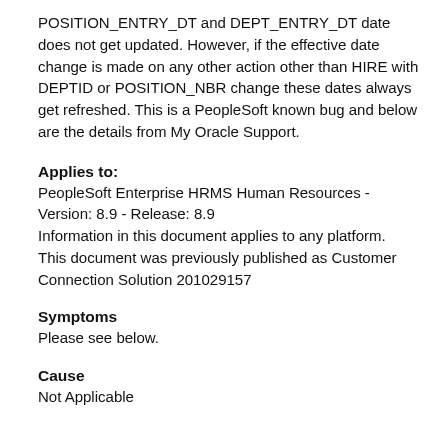POSITION_ENTRY_DT and DEPT_ENTRY_DT date does not get updated. However, if the effective date change is made on any other action other than HIRE with DEPTID or POSITION_NBR change these dates always get refreshed. This is a PeopleSoft known bug and below are the details from My Oracle Support.
Applies to:
PeopleSoft Enterprise HRMS Human Resources - Version: 8.9 - Release: 8.9
Information in this document applies to any platform.
This document was previously published as Customer Connection Solution 201029157
Symptoms
Please see below.
Cause
Not Applicable